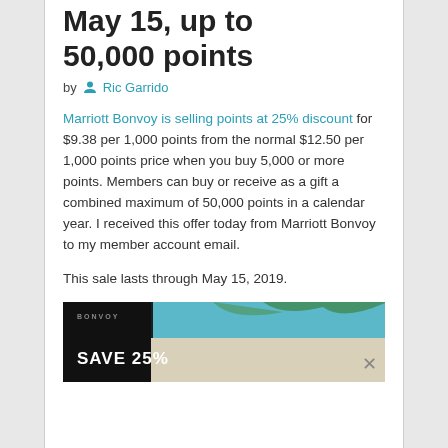May 15, up to 50,000 points
by Ric Garrido
Marriott Bonvoy is selling points at 25% discount for $9.38 per 1,000 points from the normal $12.50 per 1,000 points price when you buy 5,000 or more points. Members can buy or receive as a gift a combined maximum of 50,000 points in a calendar year. I received this offer today from Marriott Bonvoy to my member account email.
This sale lasts through May 15, 2019.
[Figure (photo): Marriott Bonvoy advertisement showing a tropical scene with SAVE 25% text and a close button]